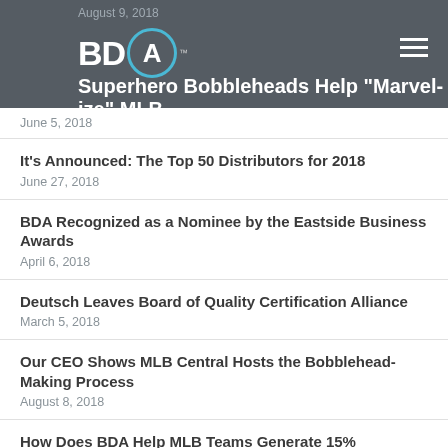August 9, 2018
[Figure (logo): BDA logo with circle around A and trademark symbol]
Superhero Bobbleheads Help "Marvel-ize" MLB
June 5, 2018
It's Announced: The Top 50 Distributors for 2018
June 27, 2018
BDA Recognized as a Nominee by the Eastside Business Awards
April 6, 2018
Deutsch Leaves Board of Quality Certification Alliance
March 5, 2018
Our CEO Shows MLB Central Hosts the Bobblehead-Making Process
August 8, 2018
How Does BDA Help MLB Teams Generate 15%